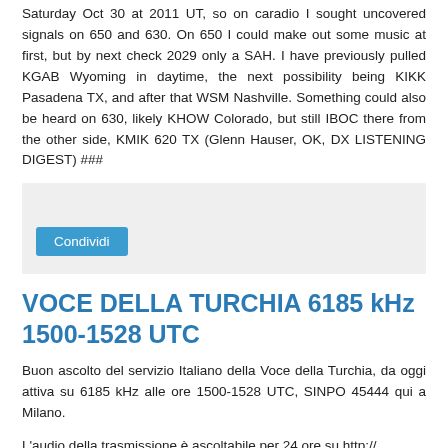Saturday Oct 30 at 2011 UT, so on caradio I sought uncovered signals on 650 and 630. On 650 I could make out some music at first, but by next check 2029 only a SAH. I have previously pulled KGAB Wyoming in daytime, the next possibility being KIKK Pasadena TX, and after that WSM Nashville. Something could also be heard on 630, likely KHOW Colorado, but still IBOC there from the other side, KMIK 620 TX (Glenn Hauser, OK, DX LISTENING DIGEST) ###
[Figure (other): Share box with 'Condividi' button]
VOCE DELLA TURCHIA 6185 kHz 1500-1528 UTC
Buon ascolto del servizio Italiano della Voce della Turchia, da oggi attiva su 6185 kHz alle ore 1500-1528 UTC, SINPO 45444 qui a Milano.
L'audio della trasmissione è ascoltabile per 24 ore su http://...